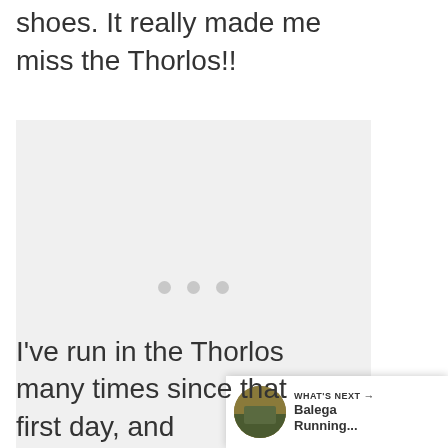shoes. It really made me miss the Thorlos!!
[Figure (photo): Large image placeholder with three gray dots in the center, light gray background. Social media UI with heart button, share button, and scroll-to-top button on the right side.]
WHAT'S NEXT → Balega Running...
I've run in the Thorlos many times since that first day, and